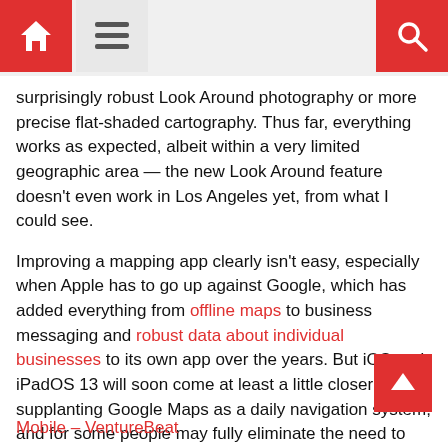[Home icon] [Menu icon] [Search icon]
surprisingly robust Look Around photography or more precise flat-shaded cartography. Thus far, everything works as expected, albeit within a very limited geographic area — the new Look Around feature doesn't even work in Los Angeles yet, from what I could see.
Improving a mapping app clearly isn't easy, especially when Apple has to go up against Google, which has added everything from offline maps to business messaging and robust data about individual businesses to its own app over the years. But iOS and iPadOS 13 will soon come at least a little closer to supplanting Google Maps as a daily navigation system, and for some people may fully eliminate the need to rely upon Google's tools (and frequent personal tracking) going forward.
Let's block ads! (Why?)
Mobile – VentureBeat